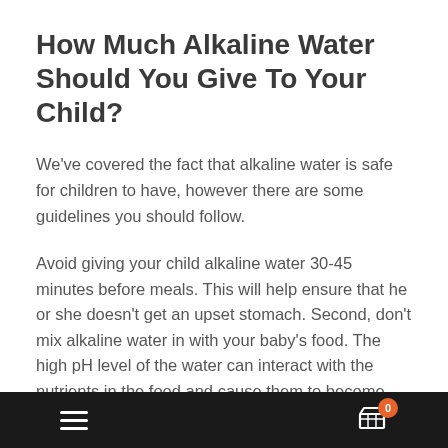How Much Alkaline Water Should You Give To Your Child?
We've covered the fact that alkaline water is safe for children to have, however there are some guidelines you should follow.
Avoid giving your child alkaline water 30-45 minutes before meals. This will help ensure that he or she doesn't get an upset stomach. Second, don't mix alkaline water in with your baby's food. The high pH level of the water can interact with the nutrients in the food and cause them to become less effective. Finally, avoid giving alkaline water to your child while he or she is on medication of any kind. This is because the medication may not be absorbed properly if taken with alkaline water.
For infants between the ages of one and five years, that means no
≡  🛒 0